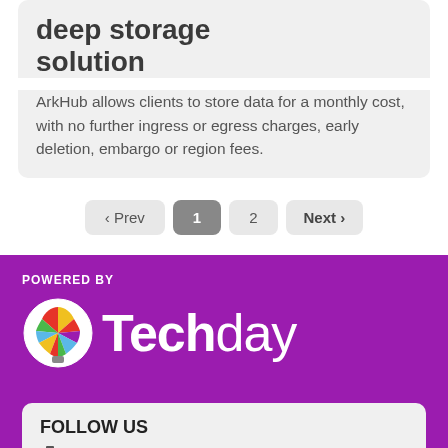deep storage solution
ArkHub allows clients to store data for a monthly cost, with no further ingress or egress charges, early deletion, embargo or region fees.
‹ Prev  1  2  Next ›
POWERED BY
[Figure (logo): Techday logo with colorful hot air balloon icon and white text on purple background]
FOLLOW US
Subscribe